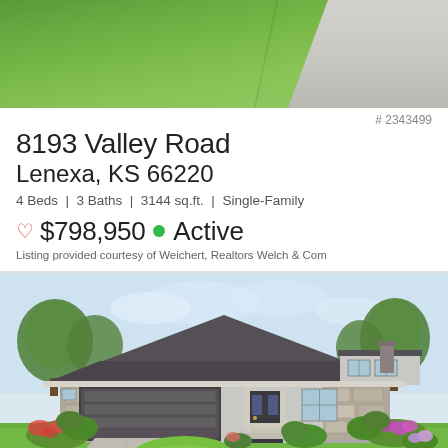[Figure (photo): Aerial/ground photo showing green grass lawn and concrete driveway/pavement, top portion of a property listing photo]
# 2343499
8193 Valley Road
Lenexa, KS 66220
4 Beds | 3 Baths | 3144 sq.ft. | Single-Family
♡ $798,950 ● Active
Listing provided courtesy of Weichert, Realtors Welch & Com
[Figure (illustration): Architectural illustration/rendering of a modern single-family home with gray stone and stucco exterior, dark gray hip roof, two-car garage, large windows, and landscaping with trees and colorful flowers]